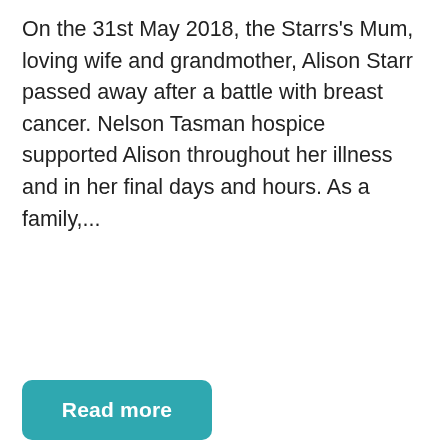On the 31st May 2018, the Starrs's Mum, loving wife and grandmother, Alison Starr passed away after a battle with breast cancer. Nelson Tasman hospice supported Alison throughout her illness and in her final days and hours. As a family,...
Read more
[Figure (logo): Sioux Dance Tasman logo inside a rectangular border. Large bold serif text reads 'Sioux Dance' and below in purple italic script reads 'Tasman'.]